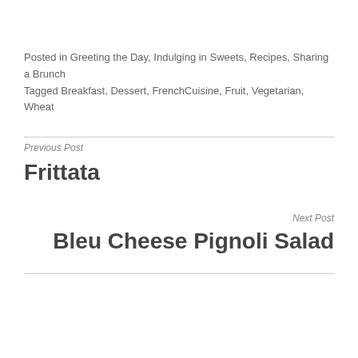Posted in Greeting the Day, Indulging in Sweets, Recipes, Sharing a Brunch
Tagged Breakfast, Dessert, FrenchCuisine, Fruit, Vegetarian, Wheat
Previous Post
Frittata
Next Post
Bleu Cheese Pignoli Salad